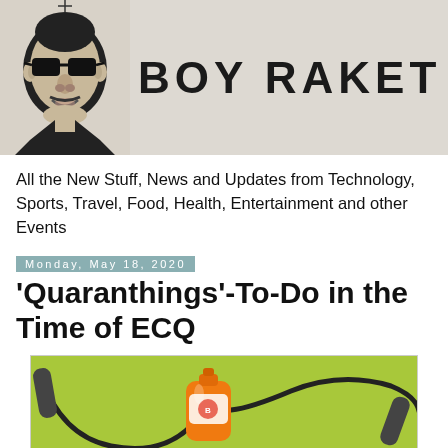[Figure (logo): Boy Raket blog header with illustrated face wearing sunglasses on textured beige background and bold text BOY RAKET]
All the New Stuff, News and Updates from Technology, Sports, Travel, Food, Health, Entertainment and other Events
Monday, May 18, 2020
'Quaranthings'-To-Do in the Time of ECQ
[Figure (photo): Orange juice bottle and jump rope on green background]